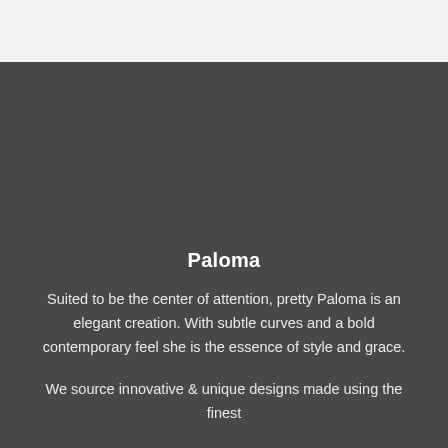[Figure (photo): Light gray top bar area representing a header/navigation region]
Paloma
Suited to be the center of attention, pretty Paloma is an elegant creation. With subtle curves and a bold contemporary feel she is the essence of style and grace.
We source innovative & unique designs made using the finest